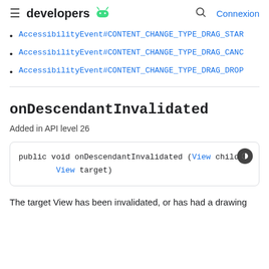developers [android logo] Connexion
AccessibilityEvent#CONTENT_CHANGE_TYPE_DRAG_STAR
AccessibilityEvent#CONTENT_CHANGE_TYPE_DRAG_CANC
AccessibilityEvent#CONTENT_CHANGE_TYPE_DRAG_DROP
onDescendantInvalidated
Added in API level 26
The target View has been invalidated, or has had a drawing